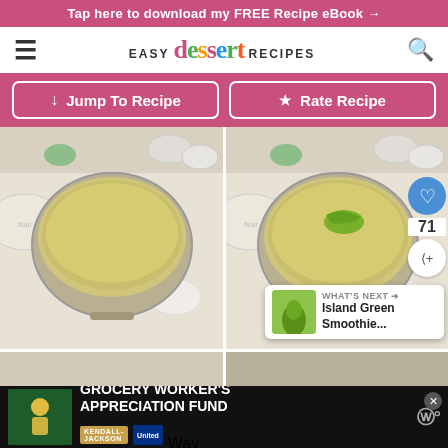Tap here to download my FREE Recipe eBook →
EASY dessert RECIPES
Jump To Recipe
Rate Recipe
[Figure (photo): Two side-by-side photos of mixing bowls with batter ingredients on a marble surface. Left bowl has plain batter, right bowl has batter with green lime zest on top. Surrounding bowls contain dry ingredients.]
71
WHAT'S NEXT → Island Green Smoothie...
[Figure (photo): Partial view of additional step photos showing white bowls on marble surface.]
GROCERY WORKER'S APPRECIATION FUND